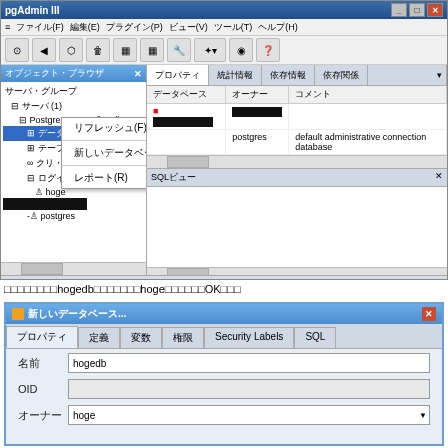[Figure (screenshot): pgAdmin III application window showing object browser with context menu open. Context menu shows options: リフレッシュ(F), 新しいデータベース..., レポート(R). Right panel shows プロパティ tab with database list. SQL panel visible at bottom. PostgreSQL 9.3 (localhost:5432) server shown in tree.]
□□□□□□□□hogedb□□□□□□□hoge□□□□□□OK□□□
[Figure (screenshot): 新しいデータベース (New Database) dialog box showing fields: 名前 (Name) = hogedb, OID = (empty), オーナー (Owner) = hoge. Tabs: プロパティ, 定義, 変数, 権限, Security Labels, SQL]